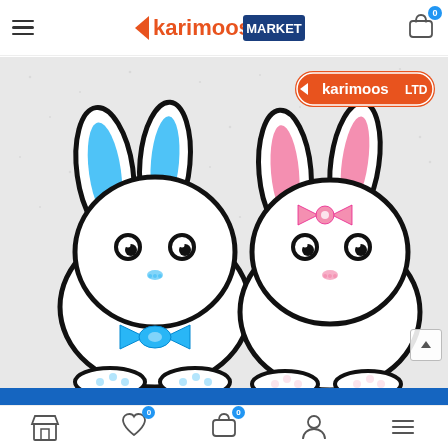Karimoos Market – navigation header with logo, hamburger menu, and cart icon
[Figure (illustration): Product image showing two cute cartoon rabbits on a light grey textured background. Left rabbit is white with blue bow tie and blue ear insides; right rabbit is white with pink bow on head and pink ear insides. A 'Karimoos LTD' orange logo badge appears in the upper right corner of the image.]
Bottom navigation bar with store, wishlist (0), cart (0), account, and menu icons